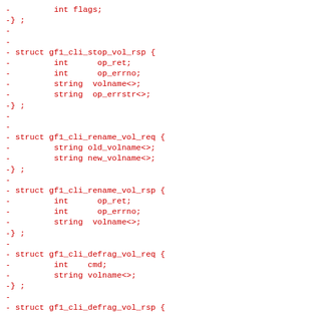-         int flags;
-} ;
-
-
- struct gf1_cli_stop_vol_rsp {
-         int      op_ret;
-         int      op_errno;
-         string  volname<>;
-         string  op_errstr<>;
-} ;
-
-
- struct gf1_cli_rename_vol_req {
-         string old_volname<>;
-         string new_volname<>;
-} ;
-
- struct gf1_cli_rename_vol_rsp {
-         int      op_ret;
-         int      op_errno;
-         string  volname<>;
-} ;
-
- struct gf1_cli_defrag_vol_req {
-         int    cmd;
-         string volname<>;
-} ;
-
- struct gf1_cli_defrag_vol_rsp {
-         int      op_ret;
-